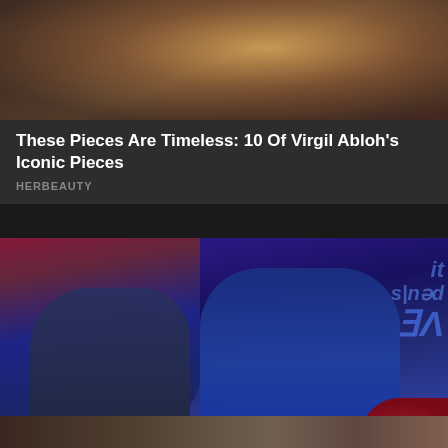[Figure (photo): Partial cropped photo at top — appears to show a person with brown/auburn hair and a red element, cropped off at top of page]
These Pieces Are Timeless: 10 Of Virgil Abloh's Iconic Pieces
HERBEAUTY
[Figure (photo): Two people sitting on a talk-show set with blue lighting. A man in a blue-grey shirt on the left and a blonde woman in a blue dress on the right, both gesturing mid-conversation. Background shows colorful set decor including a red glowing prop and city lights.]
The Most Swoon-worthy Pairs From Rom-coms
HERBEAUTY
[Figure (photo): Partial photo at bottom of page, cropped — warm tones visible]